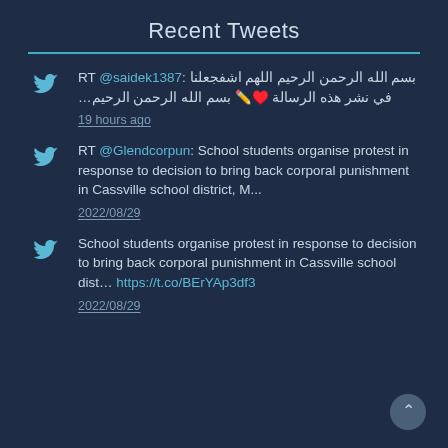Recent Tweets
RT @saidek1387: [non-latin text with emojis ❤🖊]... 19 hours ago
RT @Glendcorpun: School students organise protest in response to decision to bring back corporal punishment in Cassville school district, M... 2022/08/29
School students organise protest in response to decision to bring back corporal punishment in Cassville school dist... https://t.co/BErYAp3df3 2022/08/29